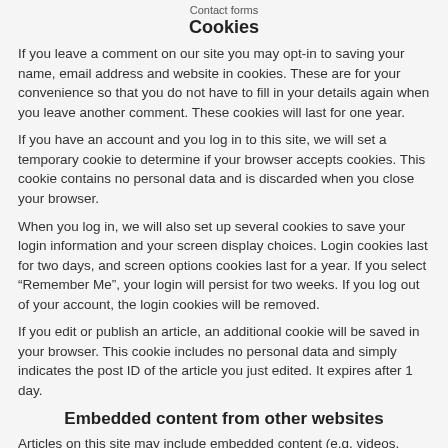Contact forms
Cookies
If you leave a comment on our site you may opt-in to saving your name, email address and website in cookies. These are for your convenience so that you do not have to fill in your details again when you leave another comment. These cookies will last for one year.
If you have an account and you log in to this site, we will set a temporary cookie to determine if your browser accepts cookies. This cookie contains no personal data and is discarded when you close your browser.
When you log in, we will also set up several cookies to save your login information and your screen display choices. Login cookies last for two days, and screen options cookies last for a year. If you select “Remember Me”, your login will persist for two weeks. If you log out of your account, the login cookies will be removed.
If you edit or publish an article, an additional cookie will be saved in your browser. This cookie includes no personal data and simply indicates the post ID of the article you just edited. It expires after 1 day.
Embedded content from other websites
Articles on this site may include embedded content (e.g. videos, images, articles, etc.). Embedded content from other websites behaves in the exact same way as if the visitor has